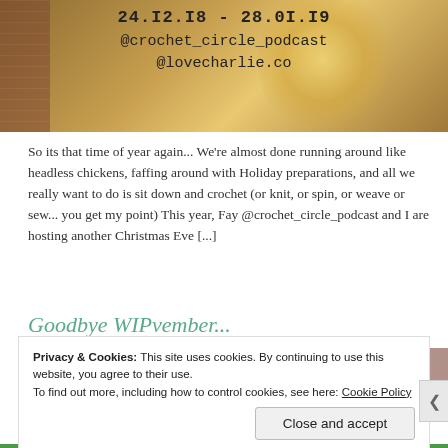[Figure (photo): Photo with typewriter-style text overlay on a golden/bronze blurred background with brick wall on left. Text reads: '24.12.18 - 28.01.19', '@crochet_circle_podcast', '@lovecharlie.co']
So its that time of year again... We're almost done running around like headless chickens, faffing around with Holiday preparations, and all we really want to do is sit down and crochet (or knit, or spin, or weave or sew... you get my point) This year, Fay @crochet_circle_podcast and I are hosting another Christmas Eve [...]
Goodbye WIPvember...
[Figure (photo): Partial photo showing knitted/crocheted fabric in purple/grey tones]
Privacy & Cookies: This site uses cookies. By continuing to use this website, you agree to their use.
To find out more, including how to control cookies, see here: Cookie Policy
Close and accept